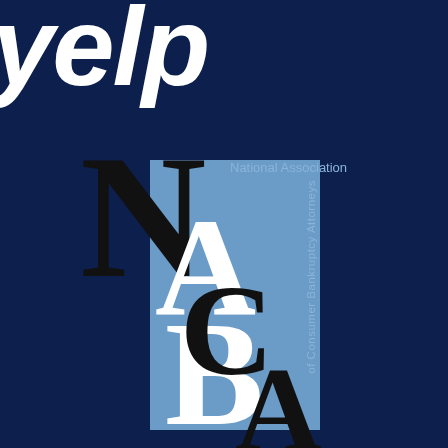[Figure (logo): Yelp and NACBA (National Association of Consumer Bankruptcy Attorneys) co-branded logo on a dark navy blue background. The top shows the Yelp wordmark in white italic bold text. Below is the NACBA logo featuring large overlapping letters N, A, C, B, A in black and white over a light blue rectangle, with 'National Association of Consumer Bankruptcy Attorneys' text in light blue.]